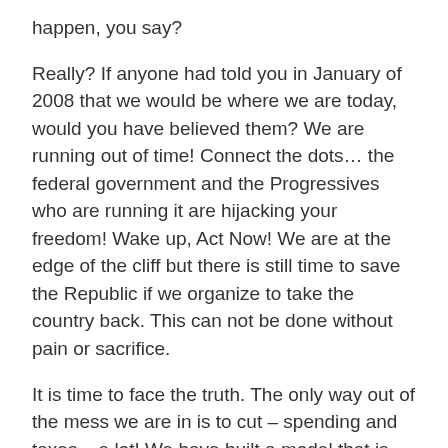happen, you say?
Really? If anyone had told you in January of 2008 that we would be where we are today, would you have believed them? We are running out of time! Connect the dots… the federal government and the Progressives who are running it are hijacking your freedom! Wake up, Act Now! We are at the edge of the cliff but there is still time to save the Republic if we organize to take the country back. This can not be done without pain or sacrifice.
It is time to face the truth. The only way out of the mess we are in is to cut – spending and taxes – a lot! We have built a model that is unsustainable. We have to come to grips with the idea that big government is not the answer – it is the problem. I am not just talking about the federal government either.